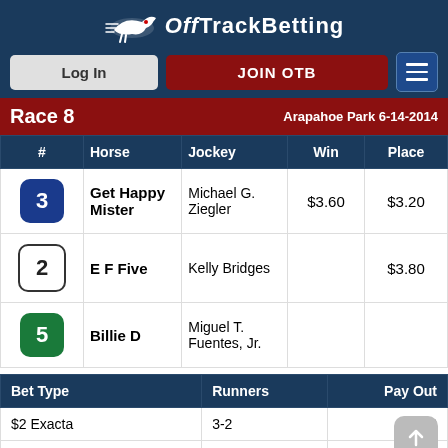OffTrackBetting — Log In | JOIN OTB
Race 8  Arapahoe Park 6-14-2014
| # | Horse | Jockey | Win | Place |
| --- | --- | --- | --- | --- |
| 3 | Get Happy Mister | Michael G. Ziegler | $3.60 | $3.20 |
| 2 | E F Five | Kelly Bridges |  | $3.80 |
| 5 | Billie D | Miguel T. Fuentes, Jr. |  |  |
| Bet Type | Runners | Pay Out |
| --- | --- | --- |
| $2 Exacta | 3-2 | $8... |
| $2 Quinella | 2-3 | $8.40 |